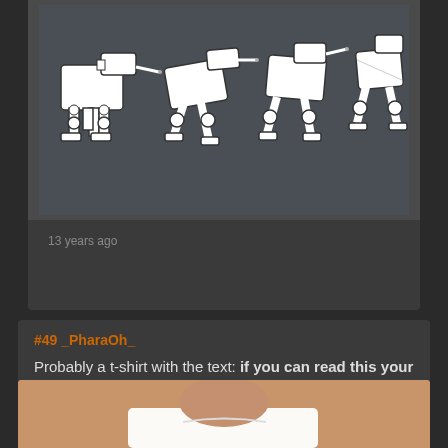[Figure (illustration): Four white AT-AT walkers from Star Wars in various walking poses on a dark grey background, arranged left to right showing movement]
13 years ago
#49 _PharaOh_
Probably a t-shirt with the text: if you can read this your dead or
[Figure (photo): Bottom portion of photo showing a person wearing a white t-shirt, cropped at the neck/chin area]